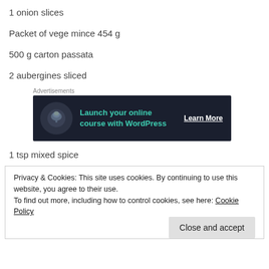1 onion slices
Packet of vege mince 454 g
500 g carton passata
2 aubergines sliced
[Figure (other): Advertisement banner: Launch your online course with WordPress. Learn More button. Dark background with teal text and a tree icon.]
1 tsp mixed spice
Privacy & Cookies: This site uses cookies. By continuing to use this website, you agree to their use.
To find out more, including how to control cookies, see here: Cookie Policy
Close and accept